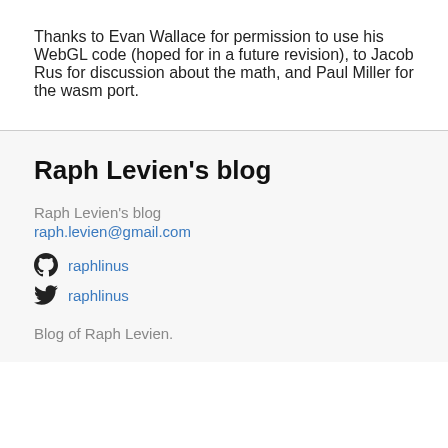Thanks to Evan Wallace for permission to use his WebGL code (hoped for in a future revision), to Jacob Rus for discussion about the math, and Paul Miller for the wasm port.
Raph Levien's blog
Raph Levien's blog
raph.levien@gmail.com
raphlinus
raphlinus
Blog of Raph Levien.